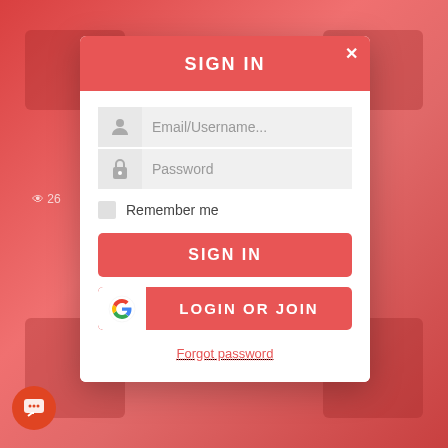[Figure (screenshot): Background showing a blurred reddish-pink social media image grid with thumbnails]
SIGN IN
[Figure (screenshot): Email/Username input field with person icon]
[Figure (screenshot): Password input field with lock icon]
Remember me
SIGN IN
LOGIN OR JOIN
Forgot password